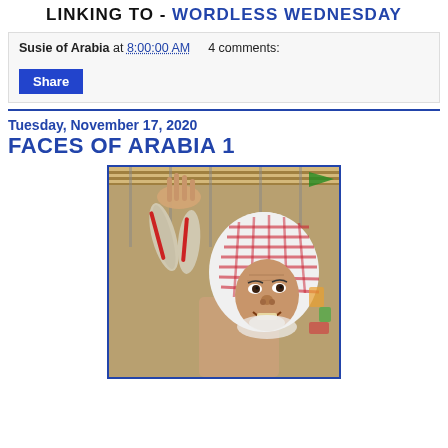LINKING TO - WORDLESS WEDNESDAY
Susie of Arabia at 8:00:00 AM    4 comments:
Share
Tuesday, November 17, 2020
FACES OF ARABIA 1
[Figure (photo): An elderly Arab man wearing a red and white checkered keffiyeh (head scarf), smiling and holding up fish at what appears to be a fish market. The background shows a market stall with hanging items.]